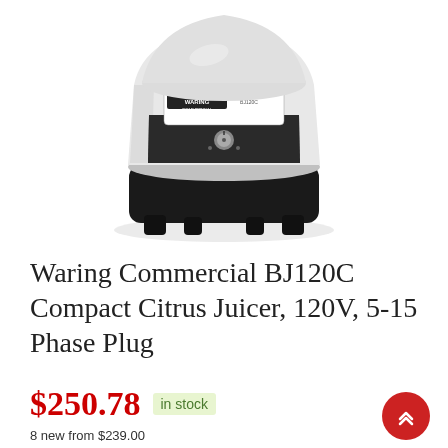[Figure (photo): Waring Commercial BJ120C Compact Citrus Juicer product photo — white and black commercial juicer with Waring Commercial branding on the front panel, black base with feet, silver control knob]
Waring Commercial BJ120C Compact Citrus Juicer, 120V, 5-15 Phase Plug
$250.78  in stock
8 new from $239.00